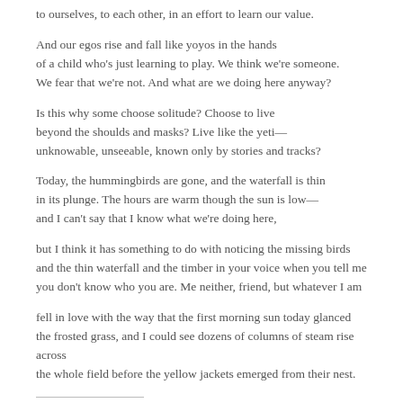to ourselves, to each other, in an effort to learn our value.
And our egos rise and fall like yoyos in the hands of a child who's just learning to play. We think we're someone. We fear that we're not. And what are we doing here anyway?
Is this why some choose solitude? Choose to live beyond the shoulds and masks? Live like the yeti—unknowable, unseeable, known only by stories and tracks?
Today, the hummingbirds are gone, and the waterfall is thin in its plunge. The hours are warm though the sun is low—and I can't say that I know what we're doing here,
but I think it has something to do with noticing the missing birds and the thin waterfall and the timber in your voice when you tell me you don't know who you are. Me neither, friend, but whatever I am
fell in love with the way that the first morning sun today glanced the frosted grass, and I could see dozens of columns of steam rise across the whole field before the yellow jackets emerged from their nest.
Like this:
Loading...